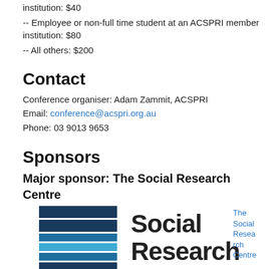institution: $40
-- Employee or non-full time student at an ACSPRI member institution: $80
-- All others: $200
Contact
Conference organiser: Adam Zammit, ACSPRI
Email: conference@acspri.org.au
Phone: 03 9013 9653
Sponsors
Major sponsor: The Social Research Centre
[Figure (logo): The Social Research Centre logo with stacked horizontal bars in dark blue and light blue, and 'Social Research' text beside it. Partial 'The Social Research Centre' text link visible at right.]